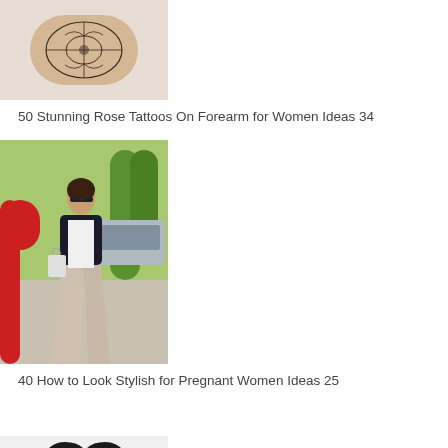[Figure (photo): Close-up of a forearm with a floral rose tattoo]
50 Stunning Rose Tattoos On Forearm for Women Ideas 34
[Figure (photo): Woman walking outdoors in a black jacket and long flowy skirt, carrying shopping bag]
40 How to Look Stylish for Pregnant Women Ideas 25
[Figure (photo): Pink Minnie Mouse patterned tote bag with black handles]